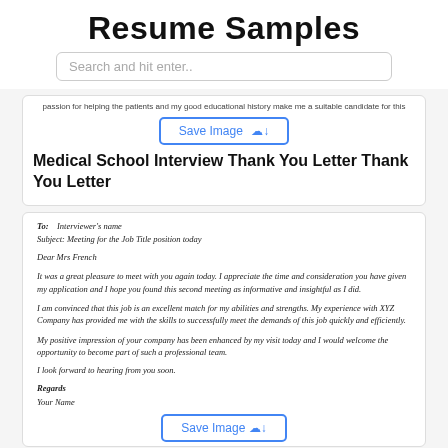Resume Samples
Search and hit enter..
passion for helping the patients and my good educational history make me a suitable candidate for this
Save Image
Medical School Interview Thank You Letter Thank You Letter
To: Interviewer's name
Subject: Meeting for the Job Title position today
Dear Mrs French
It was a great pleasure to meet with you again today. I appreciate the time and consideration you have given my application and I hope you found this second meeting as informative and insightful as I did.
I am convinced that this job is an excellent match for my abilities and strengths. My experience with XYZ Company has provided me with the skills to successfully meet the demands of this job quickly and efficiently.
My positive impression of your company has been enhanced by my visit today and I would welcome the opportunity to become part of such a professional team.
I look forward to hearing from you soon.
Regards
Your Name
Save Image